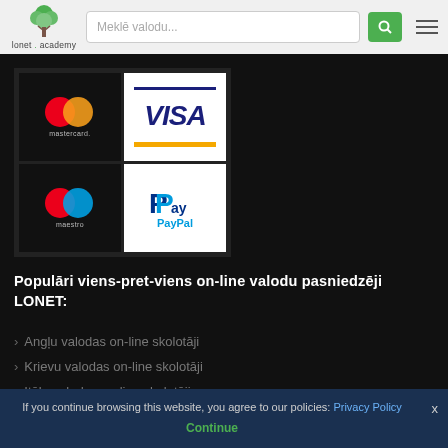[Figure (logo): lonet.academy logo with green tree icon]
[Figure (screenshot): Search bar with placeholder text 'Meklē valodu...' and green search button]
[Figure (illustration): Payment method icons grid: Mastercard, VISA, Maestro, PayPal on dark background]
Populāri viens-pret-viens on-line valodu pasniedzēji LONET:
Angļu valodas on-line skolotāji
Krievu valodas on-line skolotāji
Itāļu valodas on-line skolotāji
Arābu valodas on-line skolotāji
If you continue browsing this website, you agree to our policies: Privacy Policy
Continue